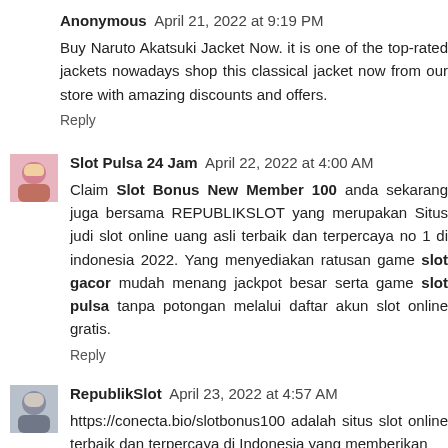Anonymous April 21, 2022 at 9:19 PM
Buy Naruto Akatsuki Jacket Now. it is one of the top-rated jackets nowadays shop this classical jacket now from our store with amazing discounts and offers.
Reply
Slot Pulsa 24 Jam April 22, 2022 at 4:00 AM
Claim Slot Bonus New Member 100 anda sekarang juga bersama REPUBLIKSLOT yang merupakan Situs judi slot online uang asli terbaik dan terpercaya no 1 di indonesia 2022. Yang menyediakan ratusan game slot gacor mudah menang jackpot besar serta game slot pulsa tanpa potongan melalui daftar akun slot online gratis.
Reply
RepublikSlot April 23, 2022 at 4:57 AM
https://conecta.bio/slotbonus100 adalah situs slot online terbaik dan terpercaya di Indonesia yang memberikan